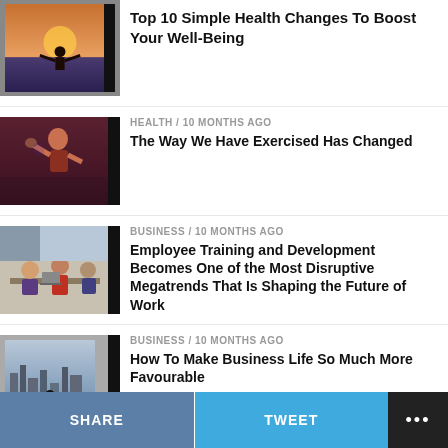[Figure (photo): Woman standing in ocean water with arms outstretched at sunset]
Top 10 Simple Health Changes To Boost Your Well-Being
[Figure (photo): Woman exercising, fitness/boxing pose]
HEALTH / 10 months ago
The Way We Have Exercised Has Changed
[Figure (photo): Group of people in a business meeting around a table with laptops]
BUSINESS / 10 months ago
Employee Training and Development Becomes One of the Most Disruptive Megatrends That Is Shaping the Future of Work
[Figure (photo): Silhouettes of people standing by large windows in a modern building with city view]
BUSINESS / 10 months ago
How To Make Business Life So Much More Favourable
[Figure (photo): Person sitting, partially visible, health article thumbnail]
HEALTH / 9 months ago
Everything You Need to Know About
SHARE   TWEET   ...